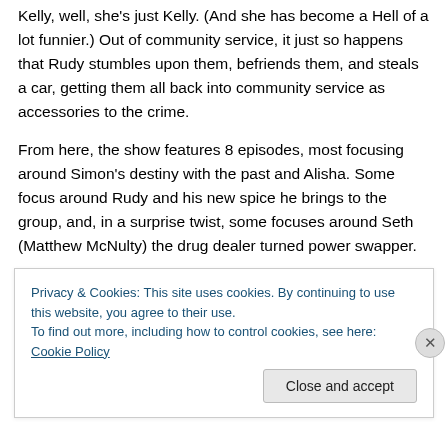Kelly, well, she's just Kelly. (And she has become a Hell of a lot funnier.) Out of community service, it just so happens that Rudy stumbles upon them, befriends them, and steals a car, getting them all back into community service as accessories to the crime.
From here, the show features 8 episodes, most focusing around Simon's destiny with the past and Alisha. Some focus around Rudy and his new spice he brings to the group, and, in a surprise twist, some focuses around Seth (Matthew McNulty) the drug dealer turned power swapper.
There's some juicy gossin there I can't get into, but you'll
Privacy & Cookies: This site uses cookies. By continuing to use this website, you agree to their use.
To find out more, including how to control cookies, see here: Cookie Policy